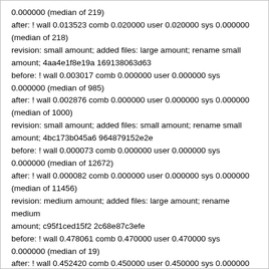0.000000 (median of 219)
after: ! wall 0.013523 comb 0.020000 user 0.020000 sys 0.000000 (median of 218)
revision: small amount; added files: large amount; rename small amount; 4aa4e1f8e19a 169138063d63
before: ! wall 0.003017 comb 0.000000 user 0.000000 sys 0.000000 (median of 985)
after: ! wall 0.002876 comb 0.000000 user 0.000000 sys 0.000000 (median of 1000)
revision: small amount; added files: small amount; rename small amount; 4bc173b045a6 964879152e2e
before: ! wall 0.000073 comb 0.000000 user 0.000000 sys 0.000000 (median of 12672)
after: ! wall 0.000082 comb 0.000000 user 0.000000 sys 0.000000 (median of 11456)
revision: medium amount; added files: large amount; rename medium amount; c95f1ced15f2 2c68e87c3efe
before: ! wall 0.478061 comb 0.470000 user 0.470000 sys 0.000000 (median of 19)
after: ! wall 0.452420 comb 0.450000 user 0.450000 sys 0.000000